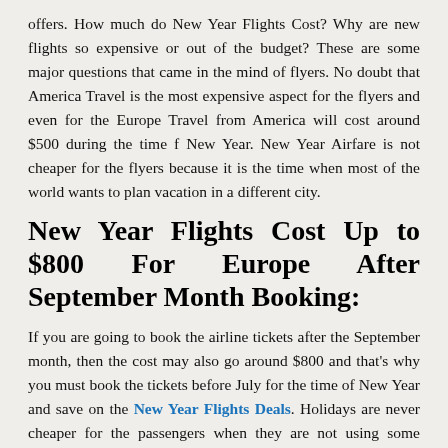offers. How much do New Year Flights Cost? Why are new flights so expensive or out of the budget? These are some major questions that came in the mind of flyers. No doubt that America Travel is the most expensive aspect for the flyers and even for the Europe Travel from America will cost around $500 during the time f New Year. New Year Airfare is not cheaper for the flyers because it is the time when most of the world wants to plan vacation in a different city.
New Year Flights Cost Up to $800 For Europe After September Month Booking:
If you are going to book the airline tickets after the September month, then the cost may also go around $800 and that's why you must book the tickets before July for the time of New Year and save on the New Year Flights Deals. Holidays are never cheaper for the passengers when they are not using some appropriate ideas and booking deals for the time of New Year. Also take a glance on the New Year Flight Booking Sale to reduce the total costing of the airfare and save more for the time of reservations.